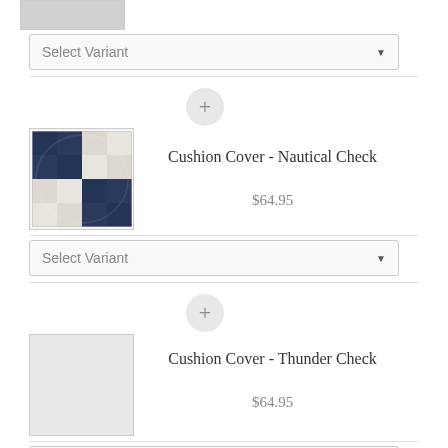[Figure (photo): Partial product image at top (truncated)]
Select Variant
[Figure (other): Plus icon circle separator]
[Figure (photo): Cushion Cover - Nautical Check product image showing navy blue and white buffalo check pillow]
Cushion Cover - Nautical Check
$64.95
Select Variant
[Figure (other): Plus icon circle separator]
[Figure (photo): Cushion Cover - Thunder Check product image (placeholder/loading)]
Cushion Cover - Thunder Check
$64.95
Select Variant